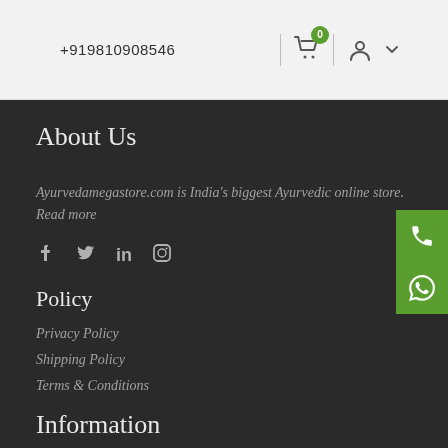+919810908546
About Us
Ayurvedamegastore.com is India's biggest Ayurvedic online store. Read more
[Figure (infographic): Social media icons: Facebook, Twitter, LinkedIn, Instagram]
Policy
Privacy Policy
Shipping Policy
Terms & Conditions
Information